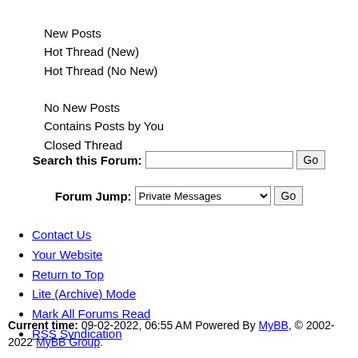New Posts
Hot Thread (New)
Hot Thread (No New)
No New Posts
Contains Posts by You
Closed Thread
Search this Forum: [input] Go
Forum Jump: Private Messages Go
Contact Us
Your Website
Return to Top
Lite (Archive) Mode
Mark All Forums Read
RSS Syndication
Current time: 09-02-2022, 06:55 AM Powered By MyBB, © 2002-2022 MyBB Group.